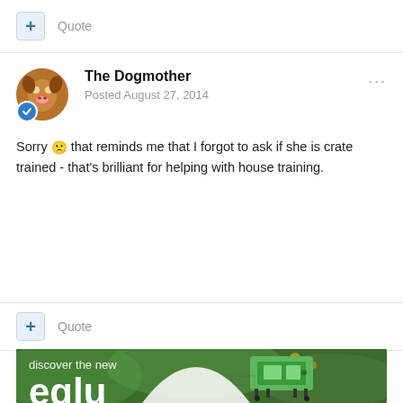+ Quote
The Dogmother
Posted August 27, 2014
Sorry 😢 that reminds me that I forgot to ask if she is crate trained - that's brilliant for helping with house training.
+ Quote
[Figure (photo): Advertisement banner showing Eglu Cube chicken coop in a garden setting, with text 'discover the new eglu cube' in white on green background]